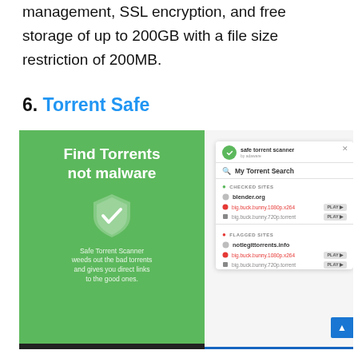management, SSL encryption, and free storage of up to 200GB with a file size restriction of 200MB.
6. Torrent Safe
[Figure (screenshot): Screenshot of Torrent Safe / Safe Torrent Scanner product. Left side shows a green panel with bold white text 'Find Torrents not malware', a shield icon with a checkmark, and subtext 'Safe Torrent Scanner weeds out the bad torrents and gives you direct links to the good ones.' Right side shows a UI mockup of the Safe Torrent Scanner browser extension with sections for CHECKED SITES (blender.org) and FLAGGED SITES (notlegittorrents.info), each with torrent file rows and PLAY buttons.]